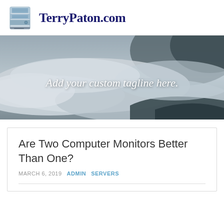TerryPaton.com
[Figure (screenshot): Hero banner image showing a foggy aerial landscape with clouds and dark terrain. Text overlay reads: Add your custom tagline here.]
Are Two Computer Monitors Better Than One?
MARCH 6, 2019   ADMIN   SERVERS